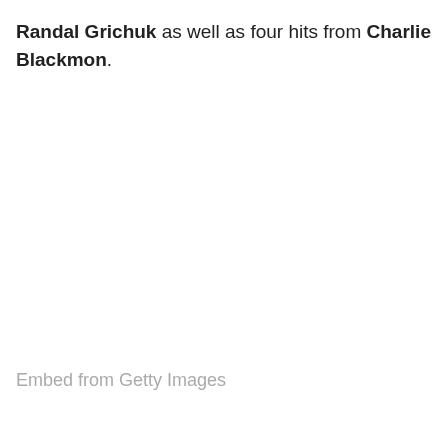Randal Grichuk as well as four hits from Charlie Blackmon.
Embed from Getty Images